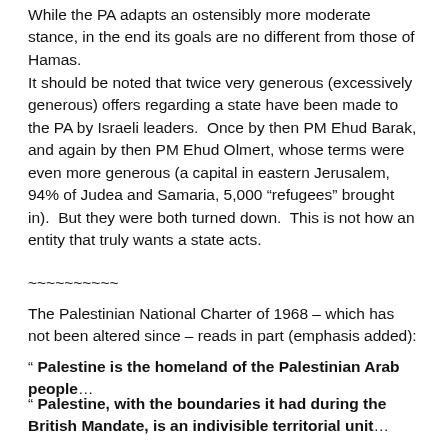While the PA adapts an ostensibly more moderate stance, in the end its goals are no different from those of Hamas.
It should be noted that twice very generous (excessively generous) offers regarding a state have been made to the PA by Israeli leaders.  Once by then PM Ehud Barak, and again by then PM Ehud Olmert, whose terms were even more generous (a capital in eastern Jerusalem, 94% of Judea and Samaria, 5,000 “refugees” brought in).  But they were both turned down.  This is not how an entity that truly wants a state acts.
~~~~~~~~~~
The Palestinian National Charter of 1968 – which has not been altered since – reads in part (emphasis added):
“ Palestine is the homeland of the Palestinian Arab people…
“ Palestine, with the boundaries it had during the British Mandate, is an indivisible territorial unit…